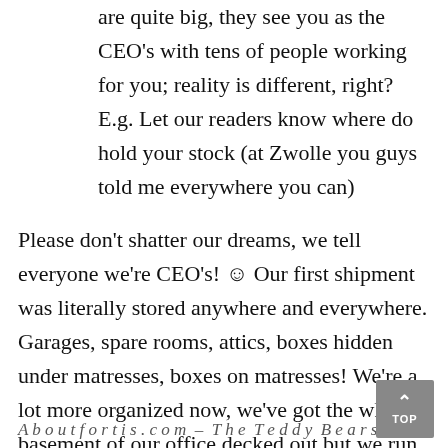are quite big, they see you as the CEO's with tens of people working for you; reality is different, right? E.g. Let our readers know where do hold your stock (at Zwolle you guys told me everywhere you can)
Please don't shatter our dreams, we tell everyone we're CEO's! ☺ Our first shipment was literally stored anywhere and everywhere. Garages, spare rooms, attics, boxes hidden under matresses, boxes on matresses! We're a lot more organized now, we've got the whole basement of our office decked out but we run out of space again, so we've converted the attic too.
Any funny Fortis stories?
A b o u t f o r t i s . c o m – T h e T e d d y B e a r s P e r f e c t ...